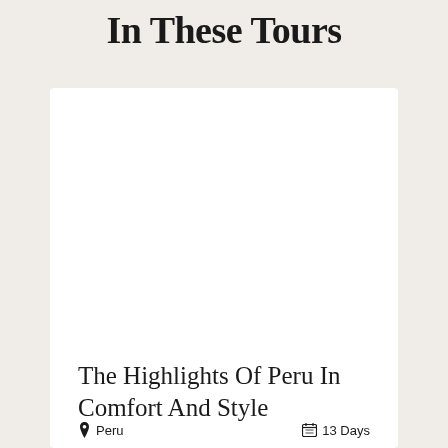In These Tours
[Figure (photo): White card with tour image area (blank/white photo placeholder)]
The Highlights Of Peru In Comfort And Style
Peru   13 Days